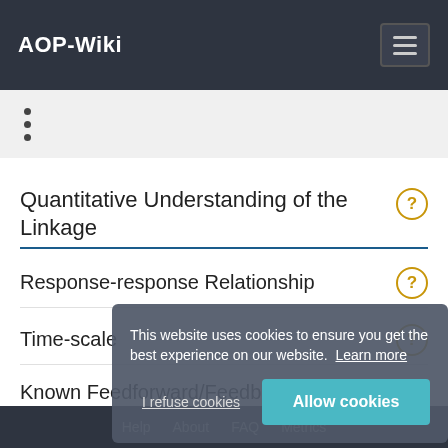AOP-Wiki
•
•
•
Quantitative Understanding of the Linkage
Response-response Relationship
Time-scale
Known Feedforward/Feedback loops influencing this KER
This website uses cookies to ensure you get the best experience on our website. Learn more
Help   About   FAQ   Metrics